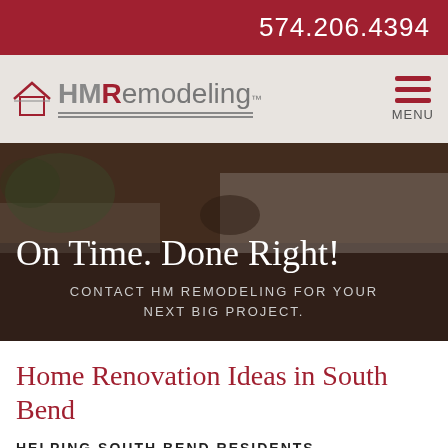574.206.4394
[Figure (logo): HMRemodeling logo with house roof icon and double underline]
[Figure (screenshot): Hamburger menu icon with three red horizontal lines and MENU label]
[Figure (photo): Kitchen background photo with dark overlay]
On Time. Done Right!
CONTACT HM REMODELING FOR YOUR NEXT BIG PROJECT.
Home Renovation Ideas in South Bend
HELPING SOUTH BEND RESIDENTS